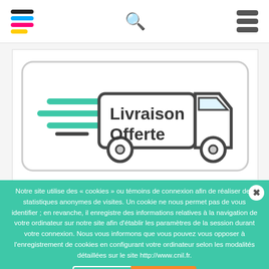[Figure (logo): Colored horizontal stripes logo (black, blue, pink, yellow)]
[Figure (illustration): Livraison Offerte — delivery van with speed lines in a rounded rectangle border]
Notre site utilise des « cookies » ou témoins de connexion afin de réaliser des statistiques anonymes de visites. Un cookie ne nous permet pas de vous identifier ; en revanche, il enregistre des informations relatives à la navigation de votre ordinateur sur notre site afin d'établir les paramètres de la session durant votre connexion. Nous vous informons que vous pouvez vous opposer à l'enregistrement de cookies en configurant votre ordinateur selon les modalités détaillées sur le site http://www.cnil.fr.
J'accepte  Plus d'infos